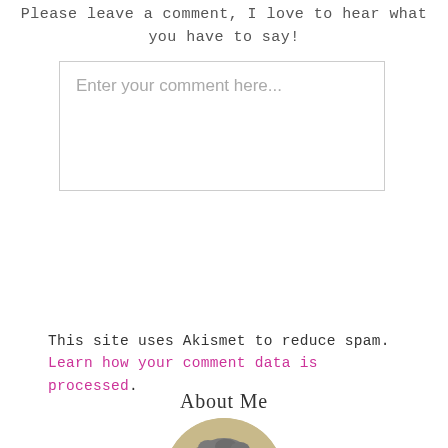Please leave a comment, I love to hear what you have to say!
[Figure (screenshot): Comment input text box with placeholder text 'Enter your comment here...']
This site uses Akismet to reduce spam. Learn how your comment data is processed.
About Me
[Figure (photo): Circular profile photo of a person with curly gray hair, cropped at bottom of frame]